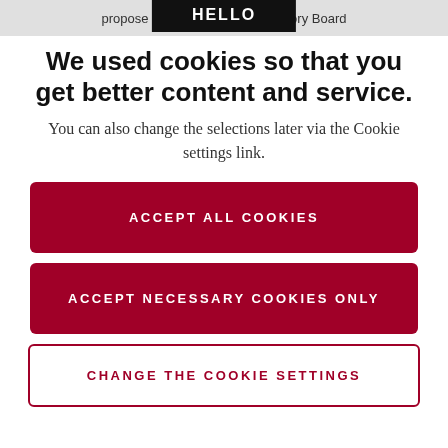propose that of the ... Advisory Board
HELLO
We used cookies so that you get better content and service.
You can also change the selections later via the Cookie settings link.
ACCEPT ALL COOKIES
ACCEPT NECESSARY COOKIES ONLY
CHANGE THE COOKIE SETTINGS